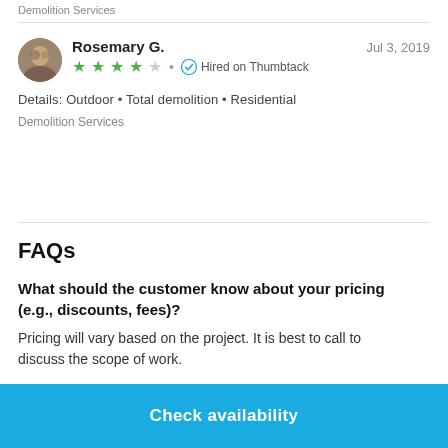Demolition Services
Rosemary G. • Jul 3, 2019 • ★★★★☆ • Hired on Thumbtack
Details: Outdoor • Total demolition • Residential
Demolition Services
FAQs
What should the customer know about your pricing (e.g., discounts, fees)?
Pricing will vary based on the project. It is best to call to discuss the scope of work.